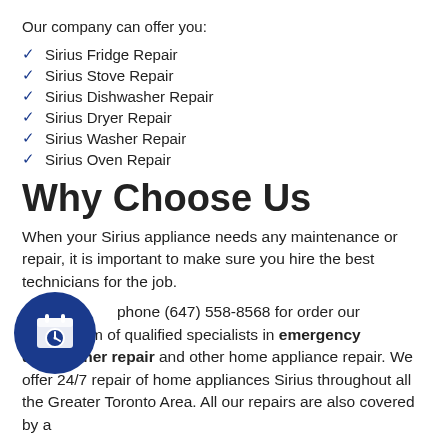Our company can offer you:
Sirius Fridge Repair
Sirius Stove Repair
Sirius Dishwasher Repair
Sirius Dryer Repair
Sirius Washer Repair
Sirius Oven Repair
Why Choose Us
When your Sirius appliance needs any maintenance or repair, it is important to make sure you hire the best technicians for the job.
[Figure (illustration): Blue circular icon with a calendar and clock graphic]
phone (647) 558-8568 for order our experienced team of qualified specialists in emergency dishwasher repair and other home appliance repair. We offer 24/7 repair of home appliances Sirius throughout all the Greater Toronto Area. All our repairs are also covered by a